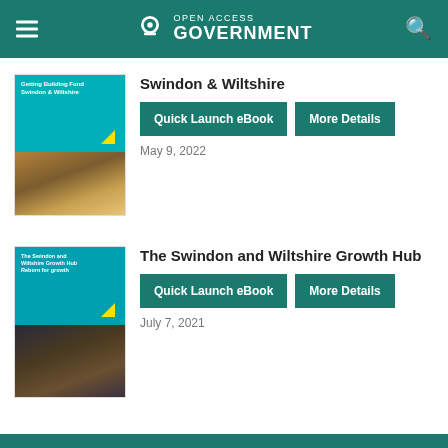Open Access Government
[Figure (illustration): eBook cover: Getting Building Fund – Swindon & Wiltshire. Cyan top panel with white text and yellow arrow graphic, bottom photo of industrial/workshop space.]
Swindon & Wiltshire
Quick Launch eBook   More Details
May 9, 2022
[Figure (illustration): eBook cover: The Swindon and Wiltshire Growth Hub – Reborn for growth. Cyan top panel with white text and yellow arrow graphic, bottom photo of industrial machinery.]
The Swindon and Wiltshire Growth Hub
Quick Launch eBook   More Details
July 7, 2021